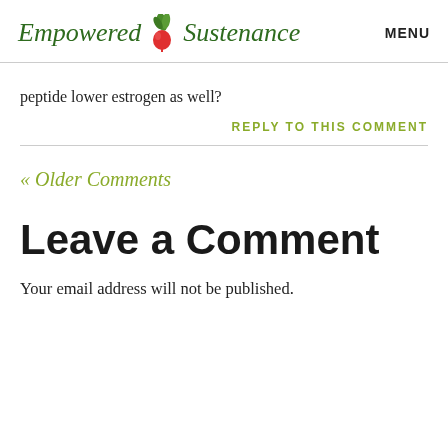Empowered Sustenance   MENU
peptide lower estrogen as well?
REPLY TO THIS COMMENT
« Older Comments
Leave a Comment
Your email address will not be published.